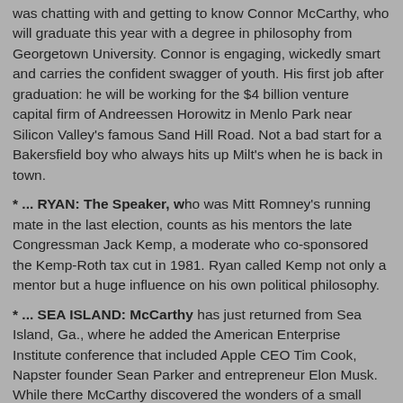was chatting with and getting to know Connor McCarthy, who will graduate this year with a degree in philosophy from Georgetown University. Connor is engaging, wickedly smart and carries the confident swagger of youth. His first job after graduation: he will be working for the $4 billion venture capital firm of Andreessen Horowitz in Menlo Park near Silicon Valley's famous Sand Hill Road. Not a bad start for a Bakersfield boy who always hits up Milt's when he is back in town.
* ... RYAN: The Speaker, who was Mitt Romney's running mate in the last election, counts as his mentors the late Congressman Jack Kemp, a moderate who co-sponsored the Kemp-Roth tax cut in 1981. Ryan called Kemp not only a mentor but a huge influence on his own political philosophy.
* ... SEA ISLAND: McCarthy has just returned from Sea Island, Ga., where he added the American Enterprise Institute conference that included Apple CEO Tim Cook, Napster founder Sean Parker and entrepreneur Elon Musk. While there McCarthy discovered the wonders of a small shack on St. Simons Island called Southern Soul Barbecue.